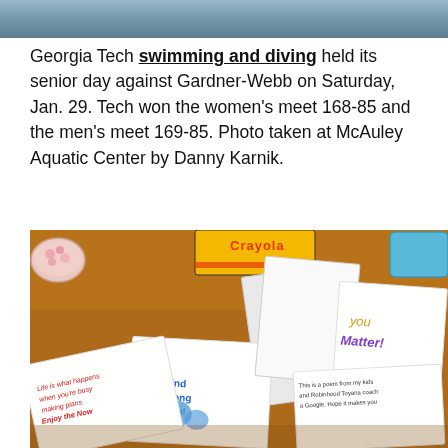[Figure (photo): Top portion of a photo showing what appears to be a swimming event]
Georgia Tech swimming and diving held its senior day against Gardner-Webb on Saturday, Jan. 29. Tech won the women's meet 168-85 and the men's meet 169-85. Photo taken at McAuley Aquatic Center by Danny Karnik.
[Figure (photo): Photo of handwritten notes and cards spread on an orange/amber tablecloth, with a Crayola crayons box, a bowl of pink candy, and a blue container visible. Cards include messages like 'Be Kind Be Strong Be You!', 'Life is what happens when you're busy making plans Enjoy the Now', 'you Matter!', and other handwritten notes on Georgia Tech letterhead.]